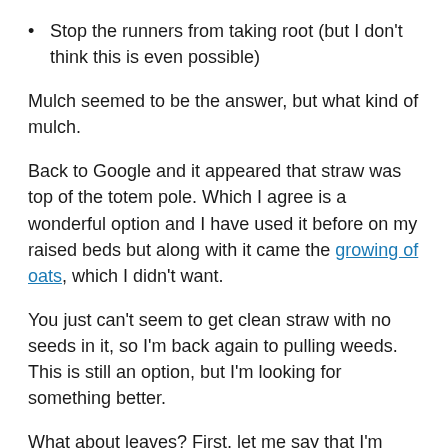Stop the runners from taking root (but I don't think this is even possible)
Mulch seemed to be the answer, but what kind of mulch.
Back to Google and it appeared that straw was top of the totem pole. Which I agree is a wonderful option and I have used it before on my raised beds but along with it came the growing of oats, which I didn't want.
You just can't seem to get clean straw with no seeds in it, so I'm back again to pulling weeds. This is still an option, but I'm looking for something better.
What about leaves? First, let me say that I'm really